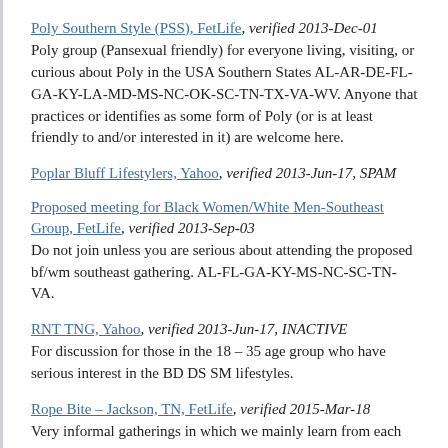Poly Southern Style (PSS), FetLife, verified 2013-Dec-01
Poly group (Pansexual friendly) for everyone living, visiting, or curious about Poly in the USA Southern States AL-AR-DE-FL-GA-KY-LA-MD-MS-NC-OK-SC-TN-TX-VA-WV. Anyone that practices or identifies as some form of Poly (or is at least friendly to and/or interested in it) are welcome here.
Poplar Bluff Lifestylers, Yahoo, verified 2013-Jun-17, SPAM
Proposed meeting for Black Women/White Men-Southeast Group, FetLife, verified 2013-Sep-03
Do not join unless you are serious about attending the proposed bf/wm southeast gathering. AL-FL-GA-KY-MS-NC-SC-TN-VA.
RNT TNG, Yahoo, verified 2013-Jun-17, INACTIVE
For discussion for those in the 18 – 35 age group who have serious interest in the BD DS SM lifestyles.
Rope Bite – Jackson, TN, FetLife, verified 2015-Mar-18
Very informal gatherings in which we mainly learn from each other, as